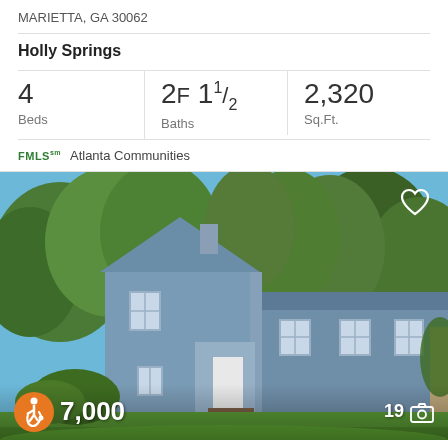MARIETTA, GA 30062
Holly Springs
| Beds | Baths | Sq.Ft. |
| --- | --- | --- |
| 4 | 2F 1 1/2 | 2,320 |
FMLS Atlanta Communities
[Figure (photo): Exterior photo of a blue-gray two-story split-level house with white front door, surrounded by trees and green lawn. ADA accessibility icon, price partially visible as $__7,000, and 19 photos indicator shown at bottom.]